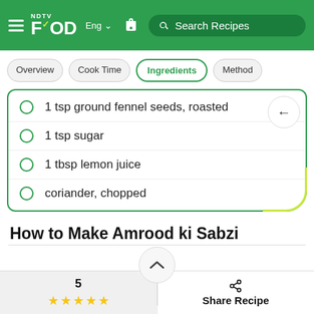NDTV Food - Eng - Search Recipes
Overview
Cook Time
Ingredients
Method
1 tsp ground fennel seeds, roasted
1 tsp sugar
1 tbsp lemon juice
coriander, chopped
How to Make Amrood ki Sabzi
1. Heat ghee in a large pan. Cut guavas into wedges
5 ★★★★★  Share Recipe